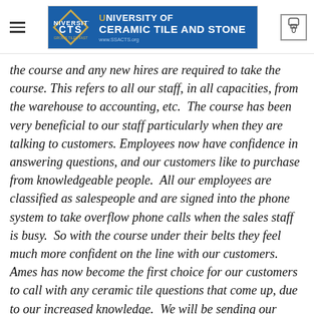University of Ceramic Tile and Stone
the course and any new hires are required to take the course. This refers to all our staff, in all capacities, from the warehouse to accounting, etc.  The course has been very beneficial to our staff particularly when they are talking to customers. Employees now have confidence in answering questions, and our customers like to purchase from knowledgeable people.  All our employees are classified as salespeople and are signed into the phone system to take overflow phone calls when the sales staff is busy.  So with the course under their belts they feel much more confident on the line with our customers.  Ames has now become the first choice for our customers to call with any ceramic tile questions that come up, due to our increased knowledge.  We will be sending our employees through